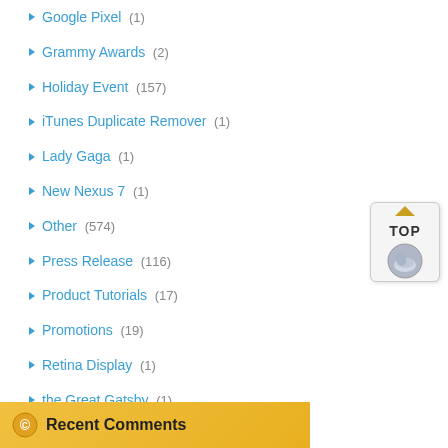Google Pixel (1)
Grammy Awards (2)
Holiday Event (157)
iTunes Duplicate Remover (1)
Lady Gaga (1)
New Nexus 7 (1)
Other (574)
Press Release (116)
Product Tutorials (17)
Promotions (19)
Retina Display (1)
the Great Gatsby (1)
Uncategorized (24)
video (3)
Recent Comments